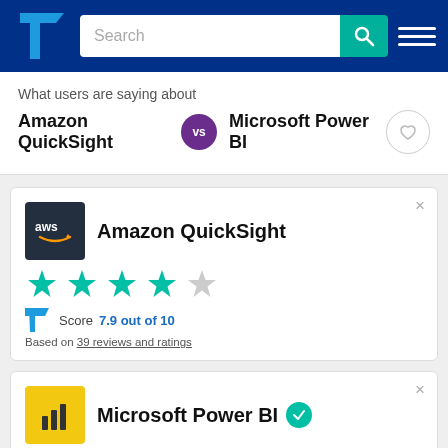TrustRadius - Search bar navigation
What users are saying about
Amazon QuickSight vs Microsoft Power BI
Amazon QuickSight
Score 7.9 out of 10
Based on 39 reviews and ratings
Microsoft Power BI